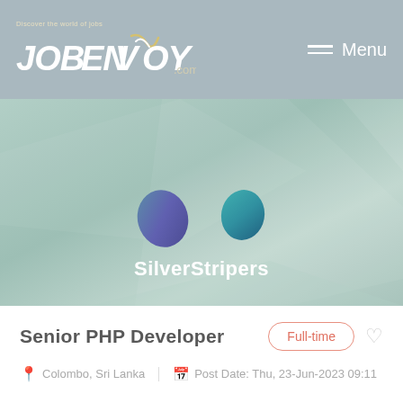JOBENVOY.com — Menu
[Figure (illustration): SilverStripers company banner with two blob/teardrop shaped logos in teal/purple gradient colors on a muted green abstract background]
Senior PHP Developer
Full-time
Colombo, Sri Lanka   Post Date: Thu, 23-Jun-2023 09:11